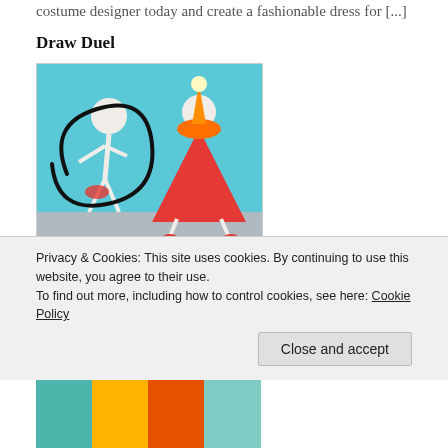costume designer today and create a fashionable dress for [...]
Draw Duel
[Figure (screenshot): Screenshot of Draw Duel game showing a white stick-figure character with a black spiral drawn around it, and a second character wearing a large red cone-shaped outfit, on a teal/blue background.]
Draw Duel is a dueling game with a drawing theme. Follow the prompts to draw the appropriate weapon, confront your opponent and push him off the platform so you can win. When you have trouble fighting your
Privacy & Cookies: This site uses cookies. By continuing to use this website, you agree to their use.
To find out more, including how to control cookies, see here: Cookie Policy
[Figure (screenshot): Partial bottom strip showing colorful game thumbnail with teal, yellow, and orange blocks.]